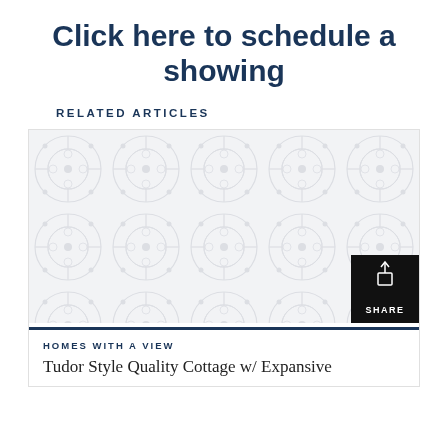Click here to schedule a showing
RELATED ARTICLES
[Figure (illustration): Decorative tile pattern image placeholder with light grey ornamental floral motif on white/light grey background. A black share button overlay appears in the bottom right corner.]
HOMES WITH A VIEW
Tudor Style Quality Cottage w/ Expansive